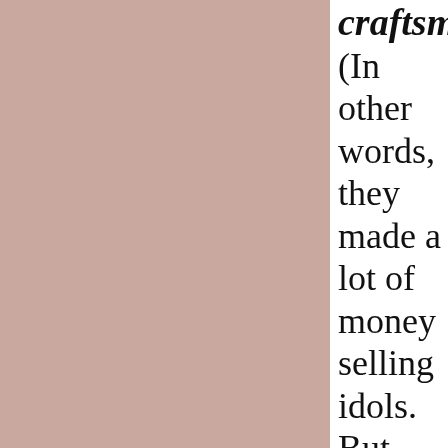[Figure (other): Solid mauve/dusty rose colored rectangle occupying the left portion of the page]
craftsmen (In other words, they made a lot of money selling idols. But what I want you to notice is that the pagan Ephesians worshiped